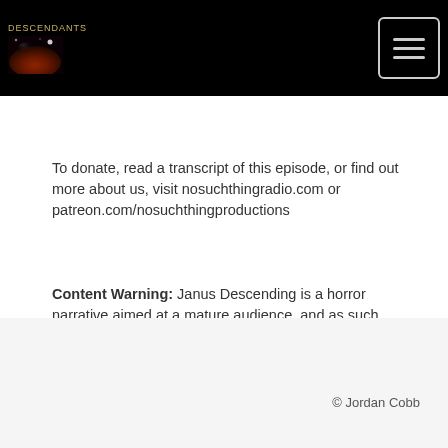DESCENDANTS — logo and navigation header
To donate, read a transcript of this episode, or find out more about us, visit nosuchthingradio.com or patreon.com/nosuchthingproductions
Content Warning: Janus Descending is a horror narrative aimed at a mature audience, and as such, may contain material that is upsetting or triggering for certain people.
© Jordan Cobb